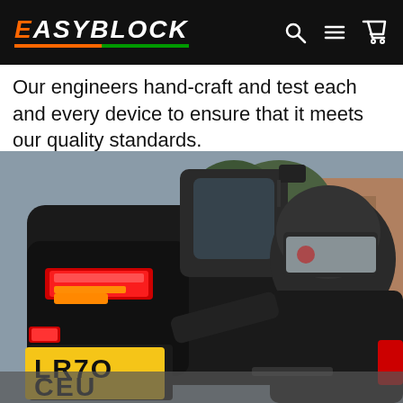EASYBLOCK
Our engineers hand-craft and test each and every device to ensure that it meets our quality standards.
[Figure (photo): A motorcyclist wearing black gear and a helmet inspects the rear of a black motorcycle/scooter. The motorcycle has red LED tail lights and a yellow UK license plate reading LR70 CEU. The setting appears to be an urban street.]